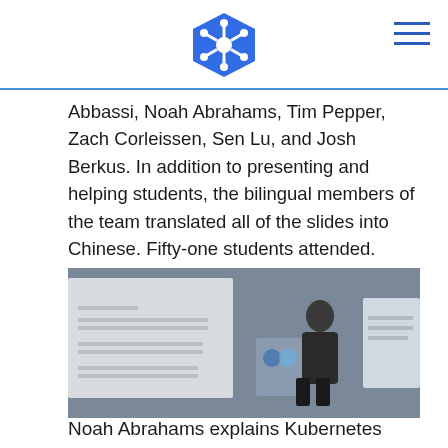Kubernetes logo header with hamburger menu
Abbassi, Noah Abrahams, Tim Pepper, Zach Corleissen, Sen Lu, and Josh Berkus. In addition to presenting and helping students, the bilingual members of the team translated all of the slides into Chinese. Fifty-one students attended.
[Figure (photo): A presenter standing at a podium at a Rancher/SUSE event, with Chinese-language slides projected on a screen behind them.]
Noah Abrahams explains Kubernetes